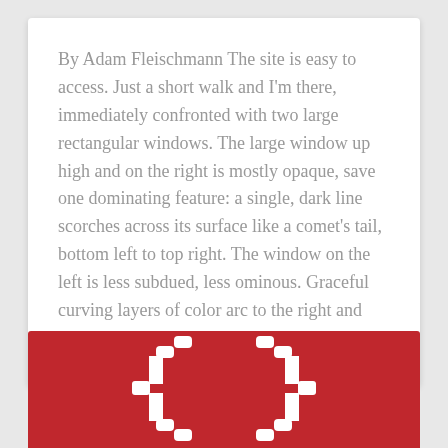By Adam Fleischmann The site is easy to access. Just a short walk and I'm there, immediately confronted with two large rectangular windows. The large window up high and on the right is mostly opaque, save one dominating feature: a single, dark line scorches across its surface like a comet's tail, bottom left to top right. The window on the left is less subdued, less ominous. Graceful curving layers of color arc to the right and skyward, almost topographical in {+}
[Figure (logo): Red banner with large white curly braces { } symbol centered]